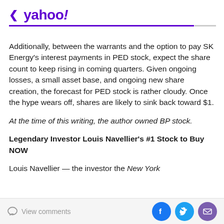< yahoo!
Additionally, between the warrants and the option to pay SK Energy's interest payments in PED stock, expect the share count to keep rising in coming quarters. Given ongoing losses, a small asset base, and ongoing new share creation, the forecast for PED stock is rather cloudy. Once the hype wears off, shares are likely to sink back toward $1.
At the time of this writing, the author owned BP stock.
Legendary Investor Louis Navellier's #1 Stock to Buy NOW
Louis Navellier — the investor the New York
View comments